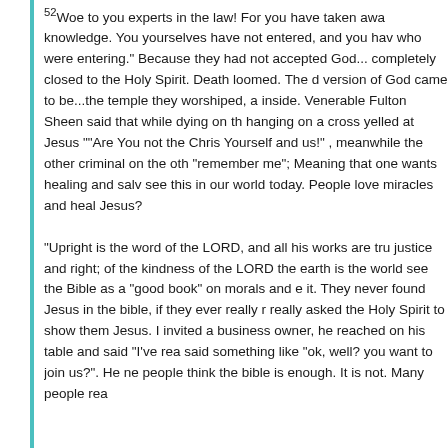52Woe to you experts in the law! For you have taken away the key of knowledge. You yourselves have not entered, and you have hindered those who were entering." Because they had not accepted God...they were completely closed to the Holy Spirit. Death loomed. The distorted version of God came to be...the temple they worshiped, and the rules inside. Venerable Fulton Sheen said that while dying on the cross one hanging on a cross yelled at Jesus ""Are You not the Christ? Save Yourself and us!" , meanwhile the other criminal on the other side said "remember me"; Meaning that one wants healing and salvation...We see this in our world today. People love miracles and healing, but not Jesus?

"Upright is the word of the LORD, and all his works are trustworthy. He loves justice and right; of the kindness of the LORD the earth is full." Many in the world see the Bible as a "good book" on morals and ethics, and read it. They never found Jesus in the bible, if they ever really read it, or never really asked the Holy Spirit to show them Jesus. I invited a business owner, he reached on his table and said "I've read the bible", I said something like "ok, well? you want to join us?". He never came... many people think the bible is enough. It is not. Many people rea